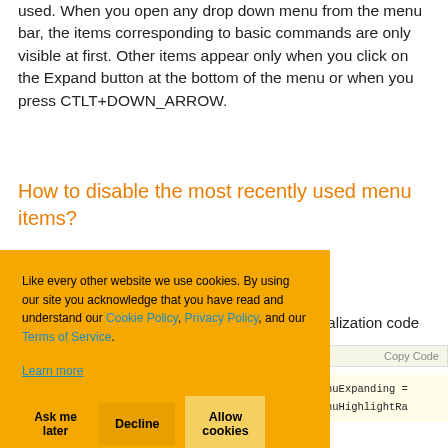used. When you open any drop down menu from the menu bar, the items corresponding to basic commands are only visible at first. Other items appear only when you click on the Expand button at the bottom of the menu or when you press CTLT+DOWN_ARROW.
How to disable the most recently used menu items?
Like every other website we use cookies. By using our site you acknowledge that you have read and understand our Cookie Policy, Privacy Policy, and our Terms of Service.
Learn more
ialization code
Copy Code
nuExpanding =
nuHighlightRa
use g_CmdManager